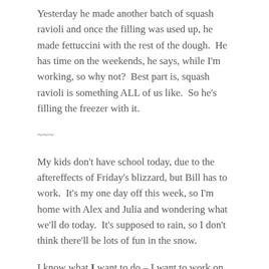Yesterday he made another batch of squash ravioli and once the filling was used up, he made fettuccini with the rest of the dough.  He has time on the weekends, he says, while I'm working, so why not?  Best part is, squash ravioli is something ALL of us like.  So he's filling the freezer with it.
~~~
My kids don't have school today, due to the aftereffects of Friday's blizzard, but Bill has to work.  It's my one day off this week, so I'm home with Alex and Julia and wondering what we'll do today.  It's supposed to rain, so I don't think there'll be lots of fun in the snow.
I know what I want to do – I want to work on sewing projects.  So we'll see how it all turns out.